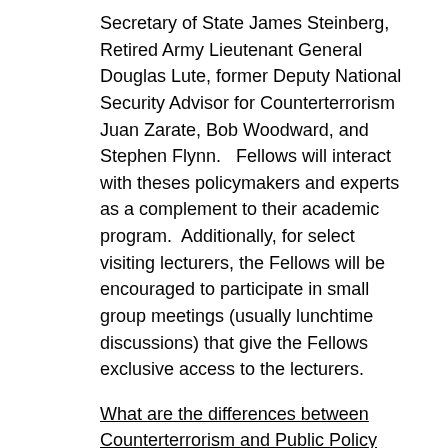Secretary of State James Steinberg, Retired Army Lieutenant General Douglas Lute, former Deputy National Security Advisor for Counterterrorism Juan Zarate, Bob Woodward, and Stephen Flynn.   Fellows will interact with theses policymakers and experts as a complement to their academic program.  Additionally, for select visiting lecturers, the Fellows will be encouraged to participate in small group meetings (usually lunchtime discussions) that give the Fellows exclusive access to the lecturers.
What are the differences between Counterterrorism and Public Policy Fellows and regular graduate students?
Fellows are not required to take the prerequisite courses that are normally required to complete a graduate level course of study.  Fellows are not required to compete for admission to the graduate